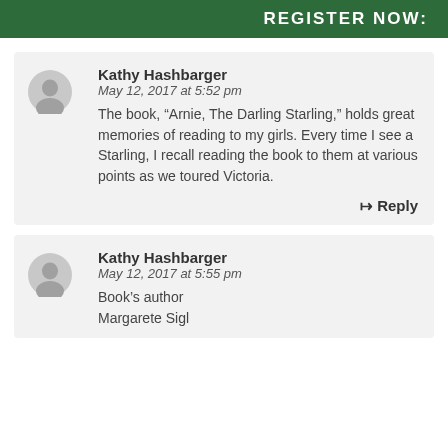[Figure (screenshot): Dark green banner with white bold text 'REGISTER NOW:']
Kathy Hashbarger
May 12, 2017 at 5:52 pm
The book, “Arnie, The Darling Starling,” holds great memories of reading to my girls. Every time I see a Starling, I recall reading the book to them at various points as we toured Victoria.
Reply
Kathy Hashbarger
May 12, 2017 at 5:55 pm
Book’s author
Margarete Sigl